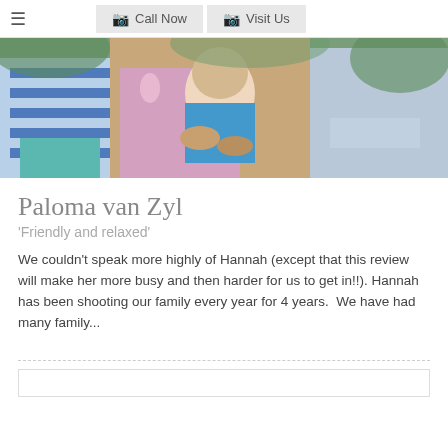≡  Call Now   Visit Us
[Figure (photo): Family photo showing adults and a young toddler in a blue shirt, with greenery in the background. The toddler is being held in a lap.]
Paloma van Zyl
'Friendly and relaxed'
We couldn't speak more highly of Hannah (except that this review will make her more busy and then harder for us to get in!!). Hannah has been shooting our family every year for 4 years.  We have had many family...